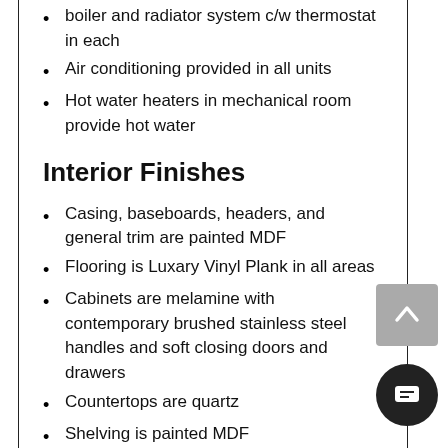boiler and radiator system c/w thermostat in each
Air conditioning provided in all units
Hot water heaters in mechanical room provide hot water
Interior Finishes
Casing, baseboards, headers, and general trim are painted MDF
Flooring is Luxary Vinyl Plank in all areas
Cabinets are melamine with contemporary brushed stainless steel handles and soft closing doors and drawers
Countertops are quartz
Shelving is painted MDF
Painting is to be one coat primer with two additional coats of eggshell latex paint.  All interior